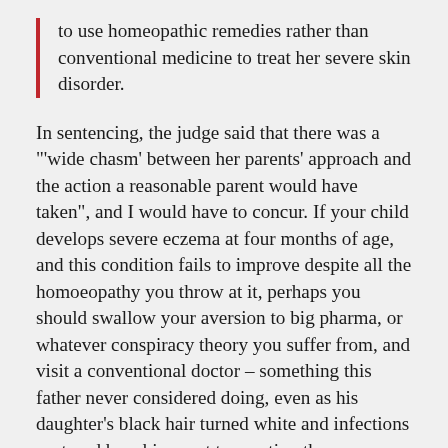to use homeopathic remedies rather than conventional medicine to treat her severe skin disorder.
In sentencing, the judge said that there was a "'wide chasm' between her parents' approach and the action a reasonable parent would have taken", and I would have to concur. If your child develops severe eczema at four months of age, and this condition fails to improve despite all the homoeopathy you throw at it, perhaps you should swallow your aversion to big pharma, or whatever conspiracy theory you suffer from, and visit a conventional doctor – something this father never considered doing, even as his daughter's black hair turned white and infections ruptured her skin – not to mention the eye infection that was apparently melting her corneas.
Do what you want to yourself – in fact, you may be